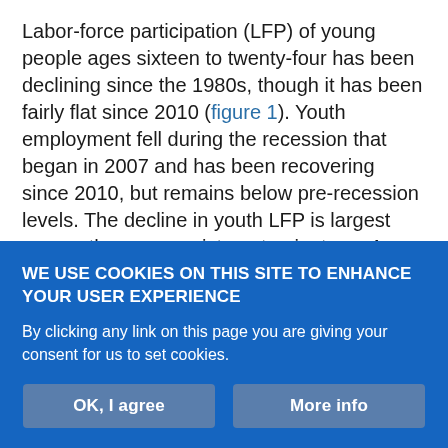Labor-force participation (LFP) of young people ages sixteen to twenty-four has been declining since the 1980s, though it has been fairly flat since 2010 (figure 1). Youth employment fell during the recession that began in 2007 and has been recovering since 2010, but remains below pre-recession levels. The decline in youth LFP is largest among those ages sixteen to nineteen. As many youth in this younger age group live with parents and attend secondary school, it is not surprising that LFP levels for this younger group are lower than for youth ages twenty to twenty-four. The LFP for the younger ages hovered near 48 percent in recent years and the older group at approximately 75 percent. The U.S. Bureau of Labor Statistics (BLS)
WE USE COOKIES ON THIS SITE TO ENHANCE YOUR USER EXPERIENCE
By clicking any link on this page you are giving your consent for us to set cookies.